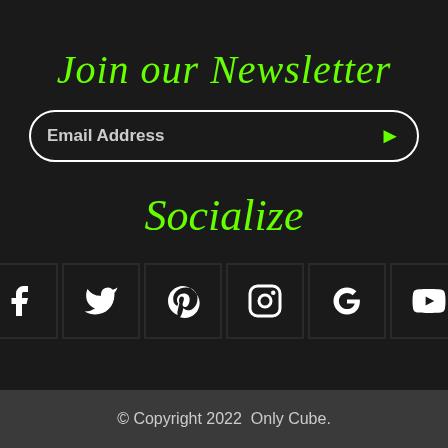Join our Newsletter
Email Address
Socialize
[Figure (other): Social media icons row: Facebook, Twitter, Pinterest, Instagram, Google+, YouTube]
© Copyright 2022  Only Cube.